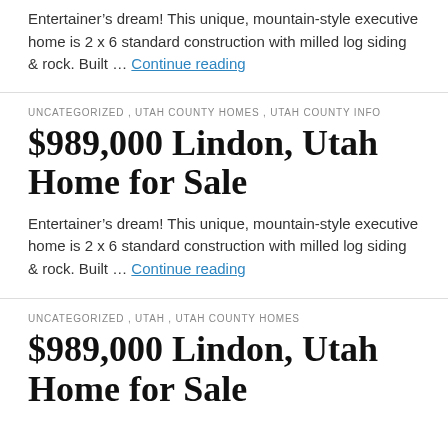Entertainer’s dream! This unique, mountain-style executive home is 2 x 6 standard construction with milled log siding & rock. Built … Continue reading
UNCATEGORIZED , UTAH COUNTY HOMES , UTAH COUNTY INFO
$989,000 Lindon, Utah Home for Sale
Entertainer’s dream! This unique, mountain-style executive home is 2 x 6 standard construction with milled log siding & rock. Built … Continue reading
UNCATEGORIZED , UTAH , UTAH COUNTY HOMES
$989,000 Lindon, Utah Home for Sale